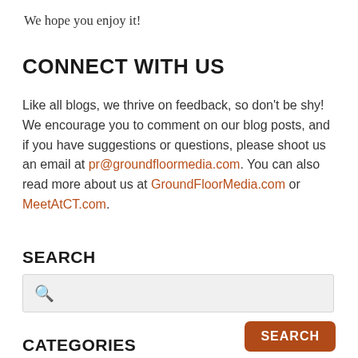We hope you enjoy it!
CONNECT WITH US
Like all blogs, we thrive on feedback, so don't be shy! We encourage you to comment on our blog posts, and if you have suggestions or questions, please shoot us an email at pr@groundfloormedia.com. You can also read more about us at GroundFloorMedia.com or MeetAtCT.com.
SEARCH
[Figure (other): Search input box with magnifying glass icon]
[Figure (other): Search button in orange-brown color with text SEARCH]
CATEGORIES